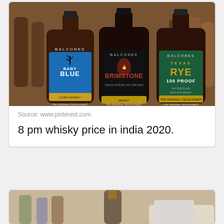[Figure (photo): Three Balcones whisky bottles: Baby Blue (blue label), Brimstone (black label), and Texas Rye 100 Proof (green label), arranged in a row with more bottles in background]
Source: www.pinterest.com
8 pm whisky price in india 2020.
[Figure (photo): Partial view of a person handling a bottle, appears to be a whisky-related image, cropped at bottom of page]